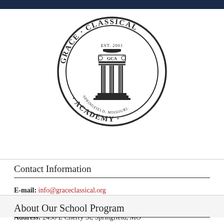[Figure (logo): Grace Classical Academy circular logo with columns, EST. 2001, GCA, Springfield Missouri]
Contact Information
E-mail: info@graceclassical.org
Phone: (417) 877-7910
Address: 2438 E Cherry St, Springfield, MO
About Our School Program